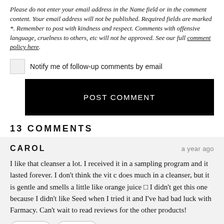Please do not enter your email address in the Name field or in the comment content. Your email address will not be published. Required fields are marked *. Remember to post with kindness and respect. Comments with offensive language, cruelness to others, etc will not be approved. See our full comment policy here.
Notify me of follow-up comments by email
POST COMMENT
13 COMMENTS
CAROL
a year ago
I like that cleanser a lot. I received it in a sampling program and it lasted forever. I don't think the vit c does much in a cleanser, but it is gentle and smells a little like orange juice □ I didn't get this one because I didn't like Seed when I tried it and I've had bad luck with Farmacy. Can't wait to read reviews for the other products!
Reply   Like